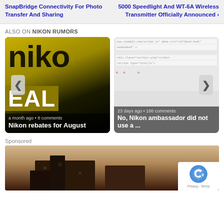SnapBridge Connectivity For Photo Transfer And Sharing
5000 Speedlight And WT-6A Wireless Transmitter Officially Announced ›
ALSO ON NIKON RUMORS
[Figure (screenshot): Carousel with two article cards. Left card: Nikon logo with gold/black design, 'a month ago • 8 comments', title 'Nikon rebates for August'. Right card: Code/text screenshot, '23 days ago • 186 comments', title 'No, Nikon ambassador did not use a ...']
Sponsored
[Figure (photo): Sponsored image showing a building exterior with stone/brick facade, with a reCAPTCHA privacy badge overlay in the bottom right corner]